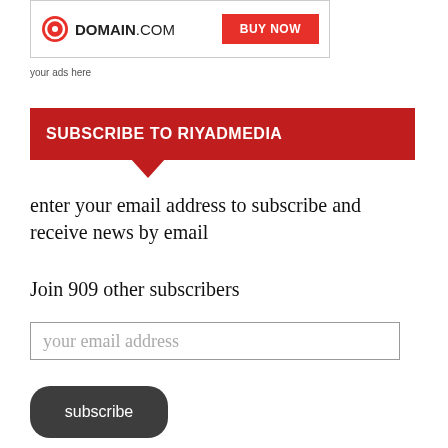[Figure (other): Domain.com advertisement banner with logo and BUY NOW button]
your ads here
SUBSCRIBE TO RIYADMEDIA
enter your email address to subscribe and receive news by email
Join 909 other subscribers
your email address
subscribe